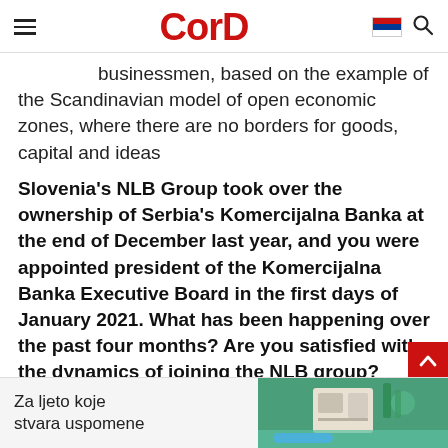CorD
businessmen, based on the example of the Scandinavian model of open economic zones, where there are no borders for goods, capital and ideas
Slovenia's NLB Group took over the ownership of Serbia's Komercijalna Banka at the end of December last year, and you were appointed president of the Komercijalna Banka Executive Board in the first days of January 2021. What has been happening over the past four months? Are you satisfied with the dynamics of joining the NLB group?
– Over the past few months I've become convinced
[Figure (other): Advertisement banner: Za ljeto koje stvara uspomene, with image of building/pool]
Za ljeto koje stvara uspomene